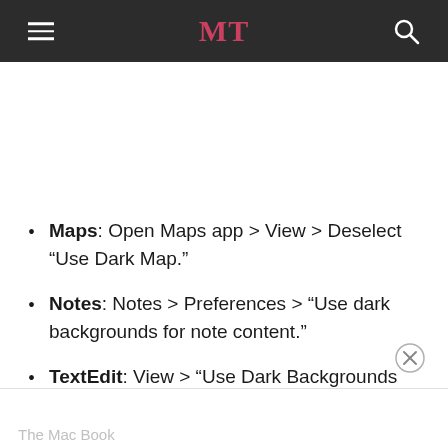MT
Maps: Open Maps app > View > Deselect “Use Dark Map.”
Notes: Notes > Preferences > “Use dark backgrounds for note content.”
TextEdit: View > “Use Dark Backgrounds for Windows.”
The Mac Book